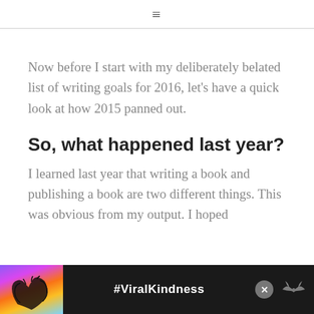≡
Now before I start with my deliberately belated list of writing goals for 2016, let's have a quick look at how 2015 panned out.
So, what happened last year?
I learned last year that writing a book and publishing a book are two different things. This was obvious from my output. I hoped
[Figure (photo): Advertisement banner at bottom of page showing hands forming a heart shape against a colorful sunset sky background, with text '#ViralKindness' and an X close button. A bird/eagle logo appears on the right side.]